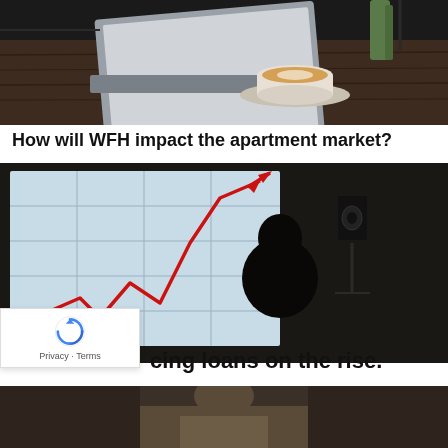[Figure (photo): Dark overhead photo of a laptop and coffee cup on a wooden desk]
How will WFH impact the apartment market?
[Figure (photo): Photo of a person's silhouette looking at a projected chart showing an upward-trending red line graph on a screen in a dark room]
[Figure (logo): Google reCAPTCHA badge with rotating arrows icon and Privacy and Terms links]
cing loans on the rise.
[Figure (photo): Partial photo at the bottom of the page showing a person with a blurred background]